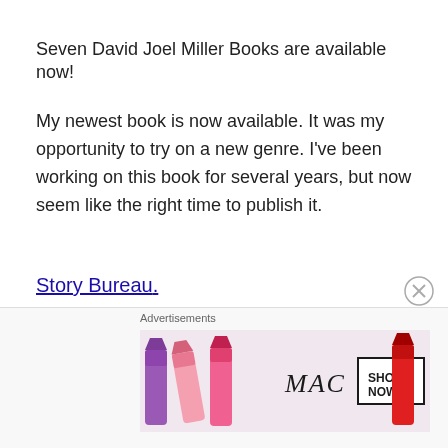Seven David Joel Miller Books are available now!
My newest book is now available. It was my opportunity to try on a new genre. I've been working on this book for several years, but now seem like the right time to publish it.
Story Bureau.
Story Bureau is a thrilling Dystopian Post-Apocalyptic adventure in the Surviving the Apocalypse series.
Baldwin struggles to survive life in a post-apocalyptic world where the government controls everything.
Advertisements
[Figure (photo): MAC cosmetics advertisement showing lipsticks with SHOP NOW text]